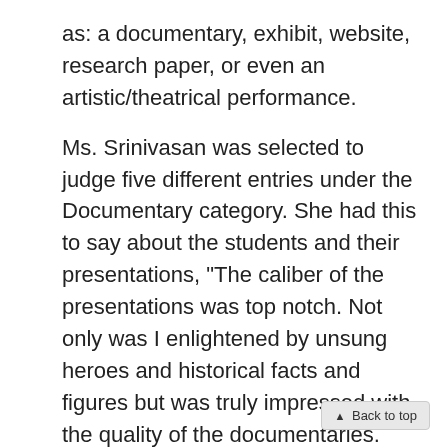as: a documentary, exhibit, website, research paper, or even an artistic/theatrical performance.
Ms. Srinivasan was selected to judge five different entries under the Documentary category. She had this to say about the students and their presentations, "The caliber of the presentations was top notch. Not only was I enlightened by unsung heroes and historical facts and figures but was truly impressed with the quality of the documentaries. These young men and women are movie-makers in the making!"